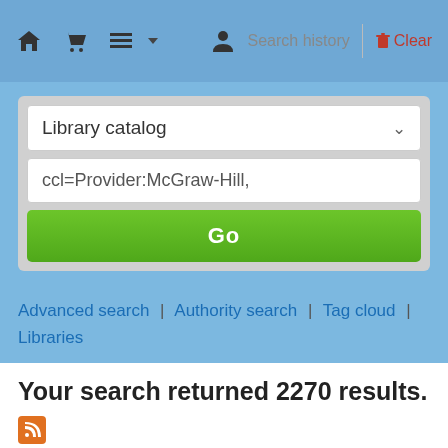Search history | Clear
[Figure (screenshot): Library catalog dropdown selector]
ccl=Provider:McGraw-Hill,
Go
Advanced search | Authority search | Tag cloud | Libraries
Your search returned 2270 results.
« First  < Previous  1  2  3  4  5  6  7  8
Relevance